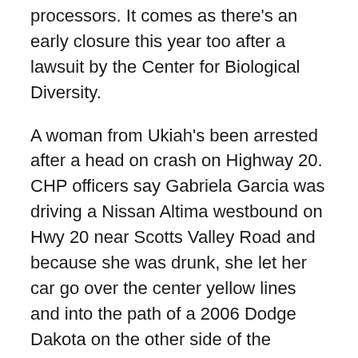processors. It comes as there's an early closure this year too after a lawsuit by the Center for Biological Diversity.
A woman from Ukiah's been arrested after a head on crash on Highway 20. CHP officers say Gabriela Garcia was driving a Nissan Altima westbound on Hwy 20 near Scotts Valley Road and because she was drunk, she let her car go over the center yellow lines and into the path of a 2006 Dodge Dakota on the other side of the highway and they crashed head on. The other driver was able to get out of his car but complained of body pain. Garcia was said to be “unresponsive”. The two drivers taken to a hospital and Garcia charged with felony driving under the influence. The other driver had moderate injuries, and Garcia's injuries were described as major.
The yearly burn ban in Lake County is starting ahead of